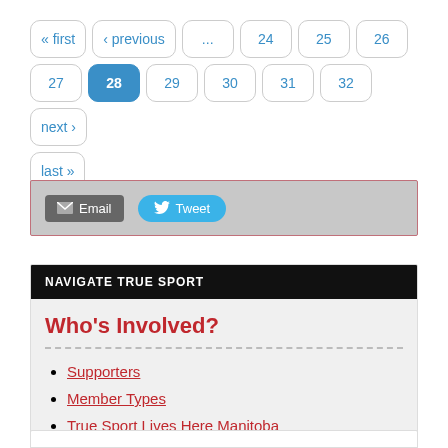« first
‹ previous
...
24
25
26
27
28 (active)
29
30
31
32
next ›
last »
Email   Tweet
NAVIGATE TRUE SPORT
Who's Involved?
Supporters
Member Types
True Sport Lives Here Manitoba